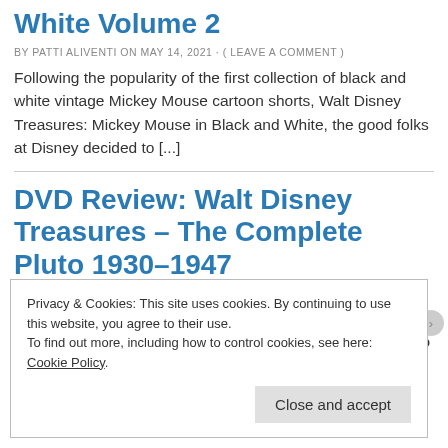White Volume 2
BY PATTI ALIVENTI ON MAY 14, 2021 · ( LEAVE A COMMENT )
Following the popularity of the first collection of black and white vintage Mickey Mouse cartoon shorts, Walt Disney Treasures: Mickey Mouse in Black and White, the good folks at Disney decided to [...]
DVD Review: Walt Disney Treasures – The Complete Pluto 1930–1947
BY PATTI ALIVENTI ON APRIL 15, 2021 · ( LEAVE A COMMENT )
In an animated world where mice, ducks, and even another dog all act like human beings, Pluto is an enigma: a dog who acts like a dog. Long recognized as Mickey's canine [...]
Privacy & Cookies: This site uses cookies. By continuing to use this website, you agree to their use.
To find out more, including how to control cookies, see here: Cookie Policy.